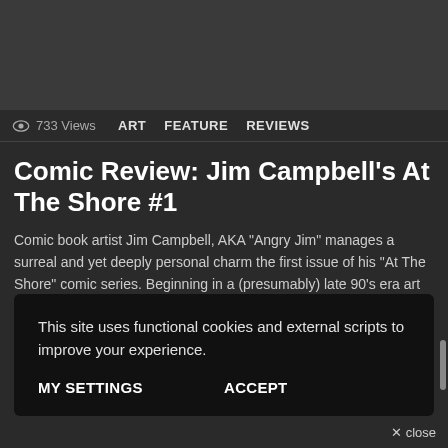[Figure (photo): Dark gray placeholder image at the top of the page]
733 Views  ART  FEATURE  REVIEWS
Comic Review: Jim Campbell's At The Shore #1
Comic book artist Jim Campbell, AKA "Angry Jim" manages a surreal and yet deeply personal charm the first issue of his "At The Shore" comic series. Beginning in a (presumably) late 90's era art school, the comic follows the antics of the reluctant Gabi and her two friends Bernard and Dean. Immediately, the story establishes the [...] MORE
7 years ago
This site uses functional cookies and external scripts to improve your experience.
MY SETTINGS  ACCEPT